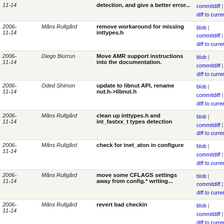| Date | Author | Message | Links |
| --- | --- | --- | --- |
| 2006-11-14 |  | detection, and give a better error... | commitdiff | diff to current |
| 2006-11-14 | Måns Rullgård | remove workaround for missing inttypes.h | blob | commitdiff | diff to current |
| 2006-11-14 | Diego Biurrun | Move AMR support instructions into the documentation. | blob | commitdiff | diff to current |
| 2006-11-14 | Oded Shimon | update to libnut API, rename nut.h->libnut.h | blob | commitdiff | diff to current |
| 2006-11-14 | Måns Rullgård | clean up inttypes.h and int_fastxx_t types detection | blob | commitdiff | diff to current |
| 2006-11-14 | Måns Rullgård | check for inet_aton in configure | blob | commitdiff | diff to current |
| 2006-11-14 | Måns Rullgård | move some CFLAGS settings away from config.* writing... | blob | commitdiff | diff to current |
| 2006-11-14 | Måns Rullgård | revert bad checkin | blob | commitdiff | diff to current |
| 2006-11-14 | Måns Rullgård | move some CFLAGS settings away from config.* writing... | blob | commitdiff | diff to current |
| 2006-11-14 | Måns Rullgård | move comment where it makes sense | blob | commitdiff | diff to current |
| 2006-11-14 | Måns Rullgård | simplify | blob | commitdiff | diff to current |
| 2006-11-14 | Måns Rullgård | move makefile linking after config.* creation | blob | commitdiff | diff to current |
| 2006-11-14 | Måns Rullgård | beautify | blob | commitdiff | diff to current |